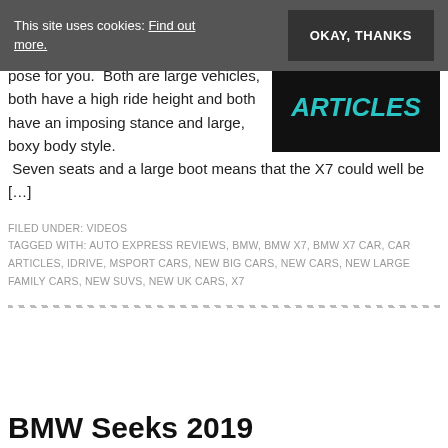This site uses cookies: Find out more.  OKAY, THANKS
pose for you.  Both are large vehicles, both have a high ride height and both have an imposing stance and large, boxy body style.  Seven seats and a large boot means that the X7 could well be […]
[Figure (other): Dark banner with teal italic text reading ARTICLES]
FILED UNDER: VIDEOS
TAGGED WITH: AUTO EXPRESS REVIEWS, BMW, BMW X7, BMW X7 CAR, CAR ARTICLES, IDRIVE, MSPORT CARS, NEW BIG CARS, NEW CARS, NEW LARGE FAMILY CARS, NEW SUVS, NEW UK CARS, X7
BMW Seeks 2019